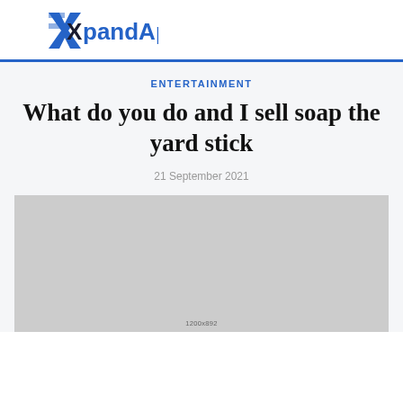XpandApp
ENTERTAINMENT
What do you do and I sell soap the yard stick
21 September 2021
[Figure (photo): Gray placeholder image with label 1200x892]